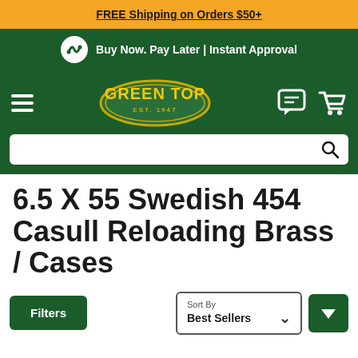FREE Shipping on Orders $50+
Buy Now. Pay Later | Instant Approval
[Figure (logo): Green Top sporting goods logo — oval green badge with yellow text reading GREEN TOP and EST. 1947]
6.5 X 55 Swedish 454 Casull Reloading Brass / Cases
Filters
Sort By Best Sellers